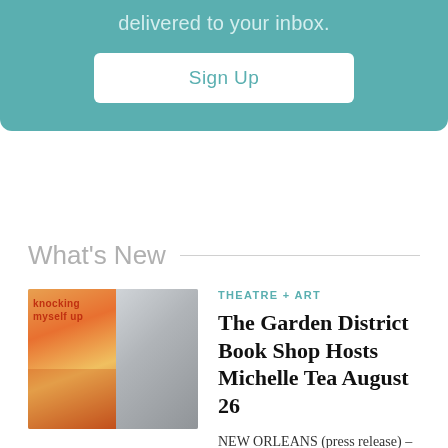delivered to your inbox.
Sign Up
What's New
[Figure (photo): Two side-by-side images: left shows book cover 'Knocking Myself Up', right shows a woman with long hair in a dark setting]
THEATRE + ART
The Garden District Book Shop Hosts Michelle Tea August 26
NEW ORLEANS (press release) – PEN/America Award winner, 2021 Guggenheim fellow, and beloved literary and tarot icon, Michelle Tea will…